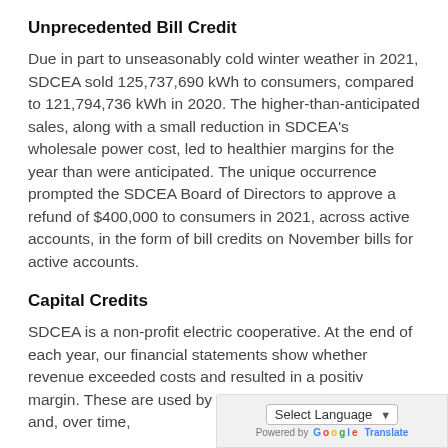Unprecedented Bill Credit
Due in part to unseasonably cold winter weather in 2021, SDCEA sold 125,737,690 kWh to consumers, compared to 121,794,736 kWh in 2020. The higher-than-anticipated sales, along with a small reduction in SDCEA's wholesale power cost, led to healthier margins for the year than were anticipated. The unique occurrence prompted the SDCEA Board of Directors to approve a refund of $400,000 to consumers in 2021, across active accounts, in the form of bill credits on November bills for active accounts.
Capital Credits
SDCEA is a non-profit electric cooperative. At the end of each year, our financial statements show whether revenue exceeded costs and resulted in a positive margin. These are used by SDCEA for operating capital and, over time,